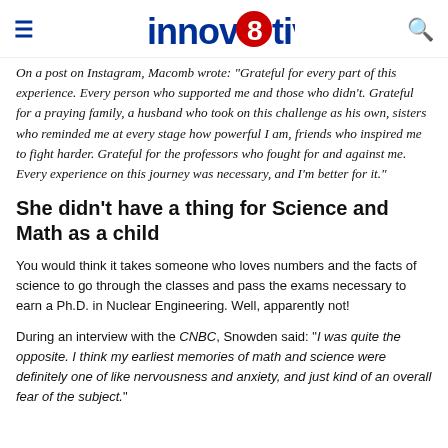innov8tiv
On a post on Instagram, Macomb wrote: "Grateful for every part of this experience. Every person who supported me and those who didn't. Grateful for a praying family, a husband who took on this challenge as his own, sisters who reminded me at every stage how powerful I am, friends who inspired me to fight harder. Grateful for the professors who fought for and against me. Every experience on this journey was necessary, and I'm better for it."
She didn't have a thing for Science and Math as a child
You would think it takes someone who loves numbers and the facts of science to go through the classes and pass the exams necessary to earn a Ph.D. in Nuclear Engineering. Well, apparently not!
During an interview with the CNBC, Snowden said: "I was quite the opposite. I think my earliest memories of math and science were definitely one of like nervousness and anxiety, and just kind of an overall fear of the subject."